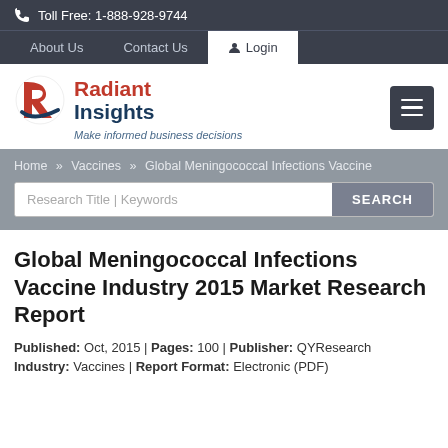Toll Free: 1-888-928-9744
About Us  Contact Us  Login
[Figure (logo): Radiant Insights logo with stylized R icon and tagline 'Make informed business decisions']
Home » Vaccines » Global Meningococcal Infections Vaccine
Global Meningococcal Infections Vaccine Industry 2015 Market Research Report
Published: Oct, 2015 | Pages: 100 | Publisher: QYResearch Industry: Vaccines | Report Format: Electronic (PDF)